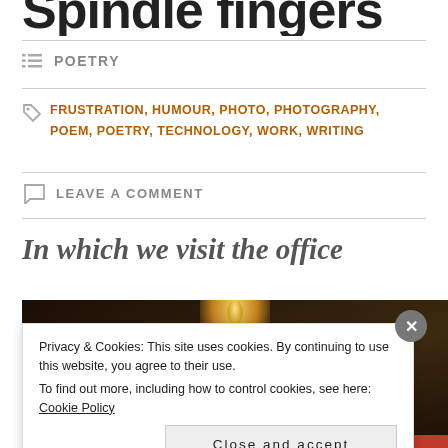Spindle fingers
POETRY
FRUSTRATION, HUMOUR, PHOTO, PHOTOGRAPHY, POEM, POETRY, TECHNOLOGY, WORK, WRITING
LEAVE A COMMENT
In which we visit the office
[Figure (photo): Dark background with candle glow at top, red bar at bottom, office visit photo]
Privacy & Cookies: This site uses cookies. By continuing to use this website, you agree to their use. To find out more, including how to control cookies, see here: Cookie Policy
Close and accept